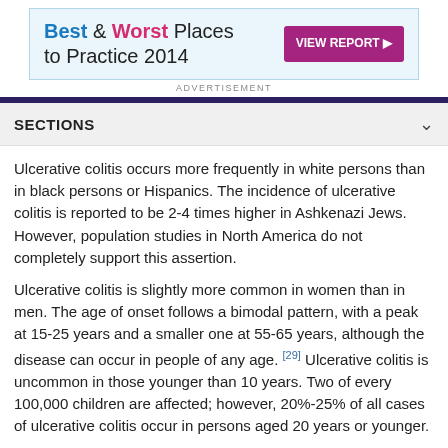[Figure (other): Advertisement banner for 'Best & Worst Places to Practice 2014' with a 'VIEW REPORT' button]
ADVERTISEMENT
SECTIONS
Ulcerative colitis occurs more frequently in white persons than in black persons or Hispanics. The incidence of ulcerative colitis is reported to be 2-4 times higher in Ashkenazi Jews. However, population studies in North America do not completely support this assertion.
Ulcerative colitis is slightly more common in women than in men. The age of onset follows a bimodal pattern, with a peak at 15-25 years and a smaller one at 55-65 years, although the disease can occur in people of any age. [29] Ulcerative colitis is uncommon in those younger than 10 years. Two of every 100,000 children are affected; however, 20%-25% of all cases of ulcerative colitis occur in persons aged 20 years or younger.
International statistics